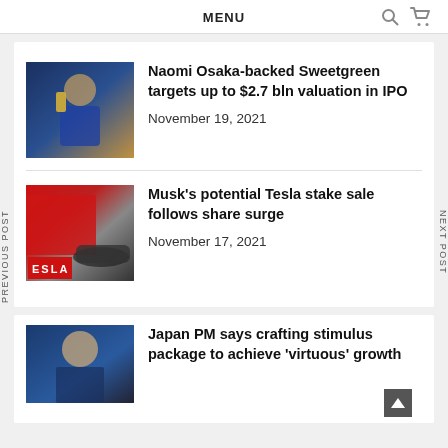MENU
PREVIOUS POST
NEXT POST
[Figure (photo): Naomi Osaka holding a trophy, with news headline: Naomi Osaka-backed Sweetgreen targets up to $2.7 bln valuation in IPO, November 19, 2021]
[Figure (photo): Tesla showroom with red Tesla logo sign and car, with news headline: Musk's potential Tesla stake sale follows share surge, November 17, 2021]
[Figure (photo): Japan PM partial photo, with headline: Japan PM says crafting stimulus package to achieve 'virtuous' growth]